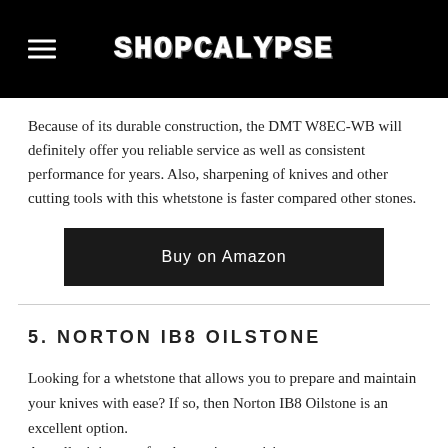SHOPCALYPSE
Because of its durable construction, the DMT W8EC-WB will definitely offer you reliable service as well as consistent performance for years. Also, sharpening of knives and other cutting tools with this whetstone is faster compared other stones.
Buy on Amazon
5. NORTON IB8 OILSTONE
Looking for a whetstone that allows you to prepare and maintain your knives with ease? If so, then Norton IB8 Oilstone is an excellent option. Actually, it is great for sharpening precision